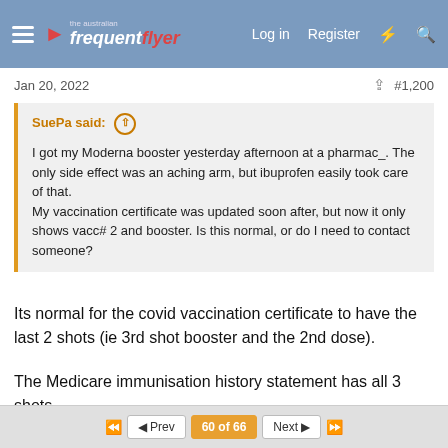the australian frequent flyer — Log in  Register
Jan 20, 2022   #1,200
SuePa said: ↑
I got my Moderna booster yesterday afternoon at a pharmac_. The only side effect was an aching arm, but ibuprofen easily took care of that.
My vaccination certificate was updated soon after, but now it only shows vacc# 2 and booster. Is this normal, or do I need to contact someone?
Its normal for the covid vaccination certificate to have the last 2 shots (ie 3rd shot booster and the 2nd dose).
The Medicare immunisation history statement has all 3 shots.
← Reply
◄◄  ◄ Prev   60 of 66   Next ►  ►►